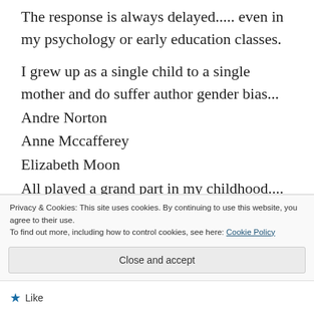The response is always delayed..... even in my psychology or early education classes.
I grew up as a single child to a single mother and do suffer author gender bias...
Andre Norton
Anne Mccafferey
Elizabeth Moon
All played a grand part in my childhood....
Privacy & Cookies: This site uses cookies. By continuing to use this website, you agree to their use.
To find out more, including how to control cookies, see here: Cookie Policy
Close and accept
Like